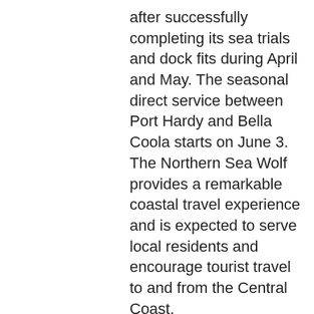after successfully completing its sea trials and dock fits during April and May. The seasonal direct service between Port Hardy and Bella Coola starts on June 3. The Northern Sea Wolf provides a remarkable coastal travel experience and is expected to serve local residents and encourage tourist travel to and from the Central Coast.
Tuesday, May 7, 2019
BC FERRIES OFFERS SUMMER SAVINGS
VICTORIA – BC Ferries announced today two promotions that give customers the opportunity to save on their travel this summer.